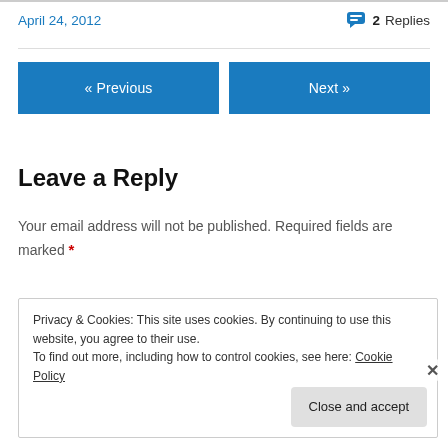April 24, 2012
2 Replies
« Previous
Next »
Leave a Reply
Your email address will not be published. Required fields are marked *
Privacy & Cookies: This site uses cookies. By continuing to use this website, you agree to their use.
To find out more, including how to control cookies, see here: Cookie Policy
Close and accept